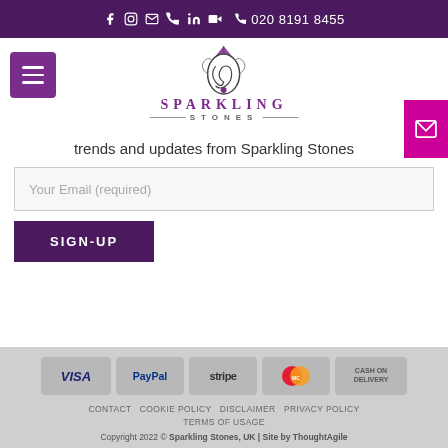Social icons | 020 8191 8455
[Figure (logo): Sparkling Stones logo with gem and swirl design]
trends and updates from Sparkling Stones
Your Email (required)
SIGN-UP
[Figure (infographic): Payment method icons: VISA, PayPal, stripe, MasterCard, CASH ON DELIVERY]
CONTACT  COOKIE POLICY  DISCLAIMER  PRIVACY POLICY  TERMS OF USAGE
Copyright 2022 © Sparkling Stones, UK | Site by ThoughtAgile